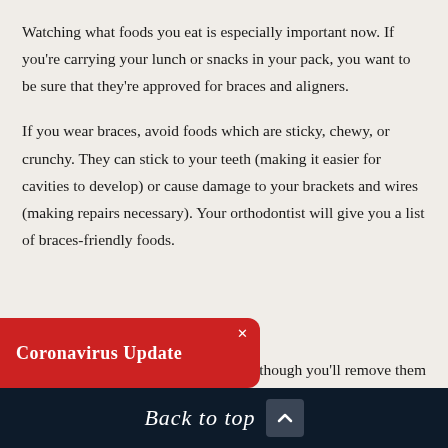Watching what foods you eat is especially important now. If you're carrying your lunch or snacks in your pack, you want to be sure that they're approved for braces and aligners.
If you wear braces, avoid foods which are sticky, chewy, or crunchy. They can stick to your teeth (making it easier for cavities to develop) or cause damage to your brackets and wires (making repairs necessary). Your orthodontist will give you a list of braces-friendly foods.
…ven though you'll remove them
[Figure (other): Red notification popup bar reading 'Coronavirus Update' with a white X close button in the top right corner]
Back to top ↑